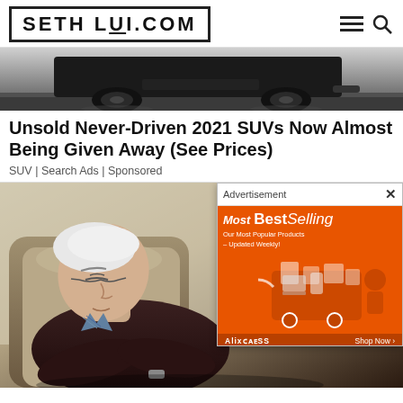SETHLUI.COM
[Figure (photo): Bottom portion of a car, showing the undercarriage and wheel on a wet/muddy surface]
Unsold Never-Driven 2021 SUVs Now Almost Being Given Away (See Prices)
SUV | Search Ads | Sponsored
[Figure (photo): Elderly man sleeping in a chair, eyes closed, arms folded, wearing a dark sweater and plaid shirt]
[Figure (screenshot): Advertisement overlay from AliExpress showing 'Most BestSelling - Our Most Popular Products - Updated Weekly!' with shopping cart graphic on orange background]